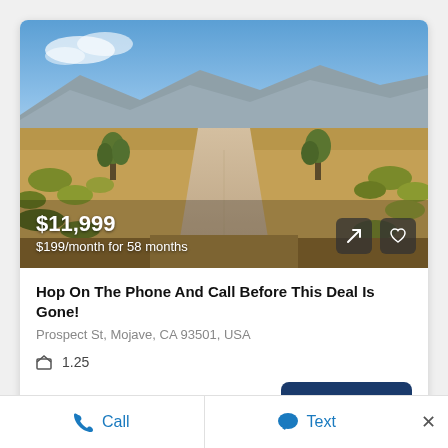[Figure (photo): Desert dirt road path through arid scrubland with Joshua trees and mountains in the background under a blue sky]
$11,999
$199/month for 58 months
Hop On The Phone And Call Before This Deal Is Gone!
Prospect St, Mojave, CA 93501, USA
1.25
AVAILABLE LAND
View Details
Call   Text